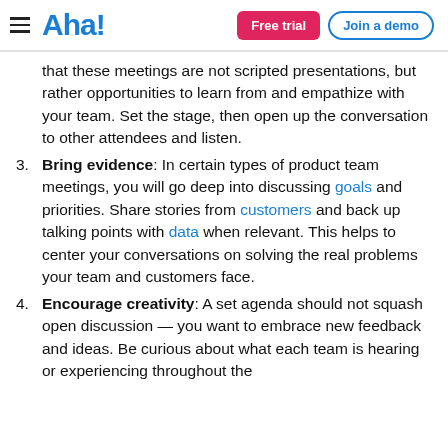Aha! — Free trial | Join a demo
that these meetings are not scripted presentations, but rather opportunities to learn from and empathize with your team. Set the stage, then open up the conversation to other attendees and listen.
3. Bring evidence: In certain types of product team meetings, you will go deep into discussing goals and priorities. Share stories from customers and back up talking points with data when relevant. This helps to center your conversations on solving the real problems your team and customers face.
4. Encourage creativity: A set agenda should not squash open discussion — you want to embrace new feedback and ideas. Be curious about what each team is hearing or experiencing throughout the